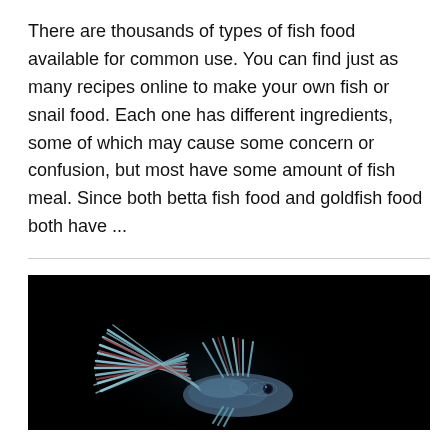There are thousands of types of fish food available for common use. You can find just as many recipes online to make your own fish or snail food. Each one has different ingredients, some of which may cause some concern or confusion, but most have some amount of fish meal. Since both betta fish food and goldfish food both have ...
[Figure (photo): A betta fish with colorful blue and red fins against a black background, showing elaborate fan-shaped tail fins.]